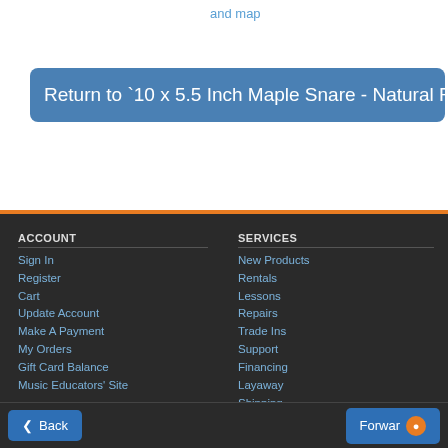and map
Return to `10 x 5.5 Inch Maple Snare - Natural Fini...
ACCOUNT
Sign In
Register
Cart
Update Account
Make A Payment
My Orders
Gift Card Balance
Music Educators' Site
SERVICES
New Products
Rentals
Lessons
Repairs
Trade Ins
Support
Financing
Layaway
Shipping
Performance Assurance
NEWS & EVENTS
Current Promotions
Archive
Blog
ABOUT
Community Support
About Our Company
Back  Forward